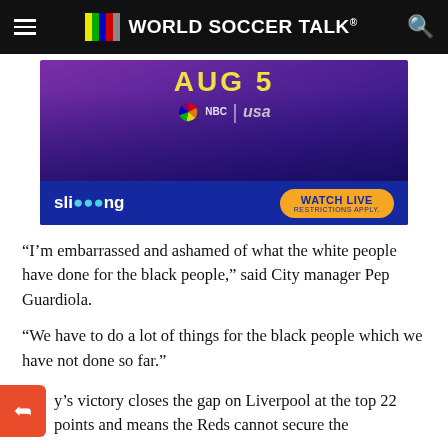WORLD SOCCER TALK
[Figure (screenshot): Advertisement for Premier League on NBC/USA Network via Sling. Shows 'AUG 5' in yellow text, NBC peacock logo and USA Network logo, soccer players in background, Sling logo at bottom left, and 'WATCH LIVE RESTRICTIONS APPLY.' button in orange.]
“I’m embarrassed and ashamed of what the white people have done for the black people,” said City manager Pep Guardiola.
“We have to do a lot of things for the black people which we have not done so far.”
…y’s victory closes the gap on Liverpool at the top 22 points and means the Reds cannot secure the